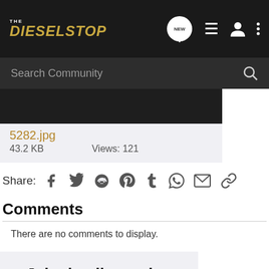THE DIESELSTOP — navigation bar with logo, NEW bubble, list icon, user icon, menu icon
Search Community
[Figure (screenshot): Thumbnail image of a dark photo (partial view)]
5282.jpg
43.2 KB   Views: 121
Share:  (Facebook, Twitter, Reddit, Pinterest, Tumblr, WhatsApp, Email, Link icons)
Comments
There are no comments to display.
Join the discussion